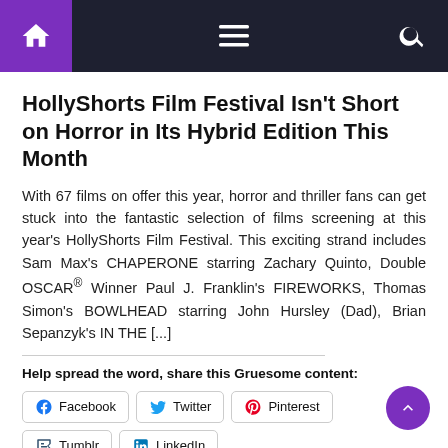Navigation bar with home, menu, and search icons
HollyShorts Film Festival Isn't Short on Horror in Its Hybrid Edition This Month
With 67 films on offer this year, horror and thriller fans can get stuck into the fantastic selection of films screening at this year's HollyShorts Film Festival. This exciting strand includes Sam Max's CHAPERONE starring Zachary Quinto, Double OSCAR® Winner Paul J. Franklin's FIREWORKS, Thomas Simon's BOWLHEAD starring John Hursley (Dad), Brian Sepanzyk's IN THE [...]
Help spread the word, share this Gruesome content: